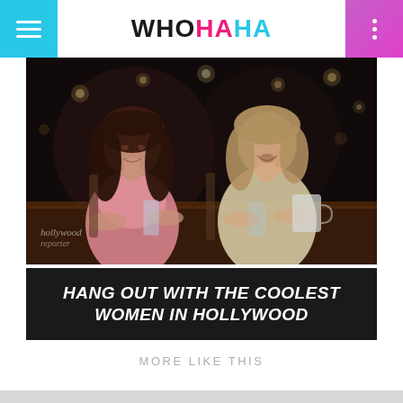WHOHAHA
[Figure (photo): Two women sitting at a table laughing together. Left woman has long dark hair wearing pink top. Right woman has shoulder-length blonde hair wearing white/cream top. Dark background with bokeh lights. Hollywood Reporter watermark visible. Caption reads: HANG OUT WITH THE COOLEST WOMEN IN HOLLYWOOD]
MORE LIKE THIS